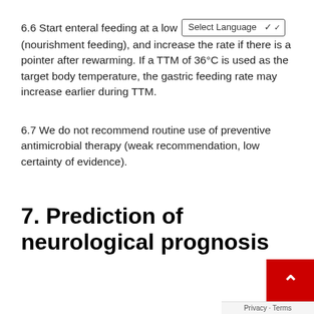6.6 Start enteral feeding at a low [Select Language ▾] (nourishment feeding), and increase the rate if there is a pointer after rewarming. If a TTM of 36°C is used as the target body temperature, the gastric feeding rate may increase earlier during TTM.
6.7 We do not recommend routine use of preventive antimicrobial therapy (weak recommendation, low certainty of evidence).
7. Prediction of neurological prognosis